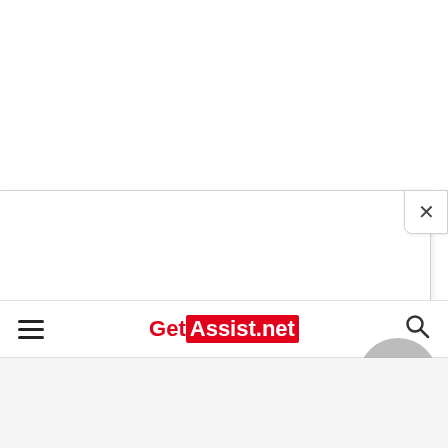[Figure (screenshot): White modal overlay panel open on a webpage, with a close (X) button in the top right corner of the panel]
GetAssist.net
[Figure (screenshot): Mobile browser navigation bar with hamburger menu icon on the left, GetAssist.net logo in the center, and search icon on the right]